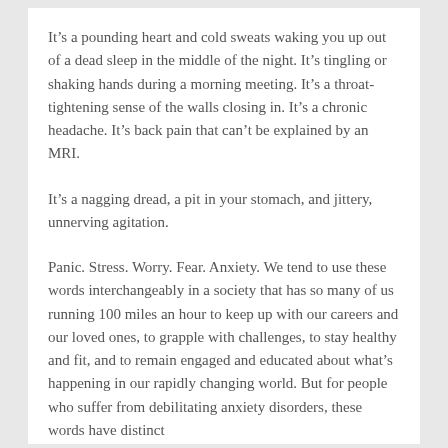It's a pounding heart and cold sweats waking you up out of a dead sleep in the middle of the night. It's tingling or shaking hands during a morning meeting. It's a throat-tightening sense of the walls closing in. It's a chronic headache. It's back pain that can't be explained by an MRI.
It's a nagging dread, a pit in your stomach, and jittery, unnerving agitation.
Panic. Stress. Worry. Fear. Anxiety. We tend to use these words interchangeably in a society that has so many of us running 100 miles an hour to keep up with our careers and our loved ones, to grapple with challenges, to stay healthy and fit, and to remain engaged and educated about what's happening in our rapidly changing world. But for people who suffer from debilitating anxiety disorders, these words have distinct